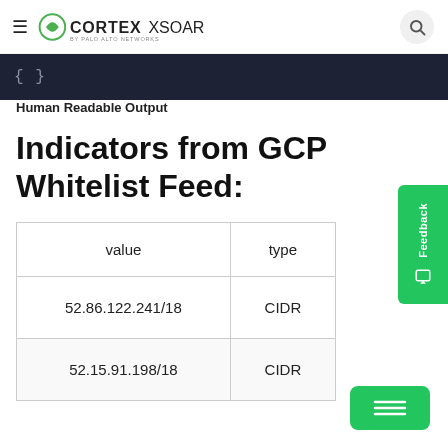Cortex XSOAR by Palo Alto Networks
Human Readable Output
Indicators from GCP Whitelist Feed:
| value | type |
| --- | --- |
| 52.86.122.241/18 | CIDR |
| 52.15.91.198/18 | CIDR |